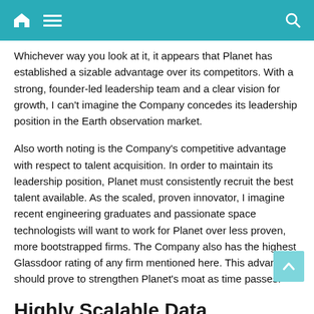Whichever way you look at it, it appears that Planet has established a sizable advantage over its competitors. With a strong, founder-led leadership team and a clear vision for growth, I can't imagine the Company concedes its leadership position in the Earth observation market.
Also worth noting is the Company's competitive advantage with respect to talent acquisition. In order to maintain its leadership position, Planet must consistently recruit the best talent available. As the scaled, proven innovator, I imagine recent engineering graduates and passionate space technologists will want to work for Planet over less proven, more bootstrapped firms. The Company also has the highest Glassdoor rating of any firm mentioned here. This advantage should prove to strengthen Planet's moat as time passes.
Highly Scalable Data Subscription Review